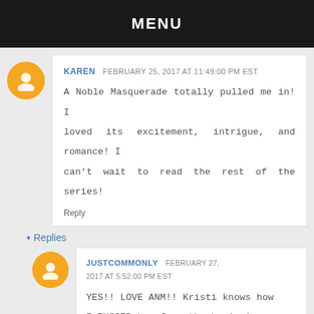MENU
KAREN  FEBRUARY 25, 2017 AT 11:49:00 PM EST
A Noble Masquerade totally pulled me in! I loved its excitement, intrigue, and romance! I can't wait to read the rest of the series!
Reply
▾ Replies
JUSTCOMMONLY  FEBRUARY 27, 2017 AT 5:52:00 PM EST
YES!! LOVE ANM!! Kristi knows how I BUGGED her from the beginning about more!! hahaha